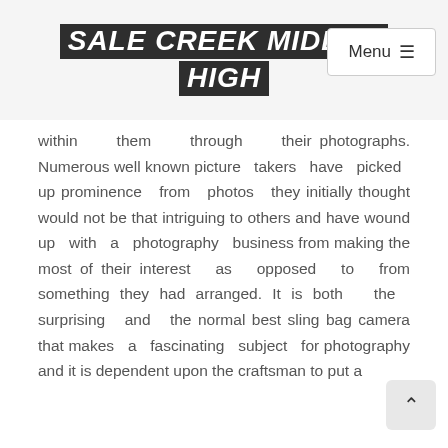SALE CREEK MIDDLE HIGH
within them through their photographs. Numerous well known picture takers have picked up prominence from photos they initially thought would not be that intriguing to others and have wound up with a photography business from making the most of their interest as opposed to from something they had arranged. It is both the surprising and the normal best sling bag camera that makes a fascinating subject for photography and it is dependent upon the craftsman to put a